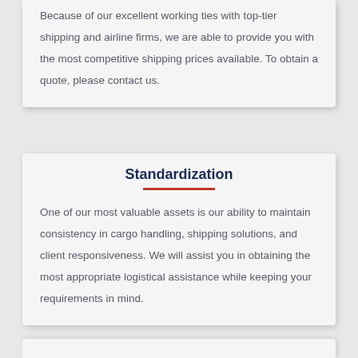Because of our excellent working ties with top-tier shipping and airline firms, we are able to provide you with the most competitive shipping prices available. To obtain a quote, please contact us.
Standardization
One of our most valuable assets is our ability to maintain consistency in cargo handling, shipping solutions, and client responsiveness. We will assist you in obtaining the most appropriate logistical assistance while keeping your requirements in mind.